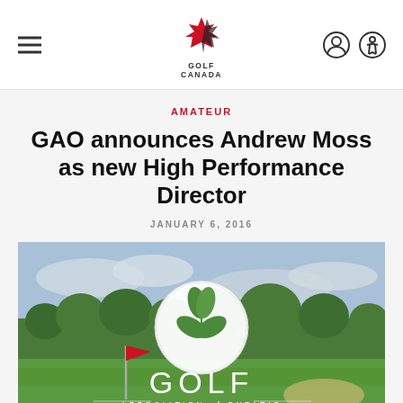Golf Canada navigation header with hamburger menu, Golf Canada logo, user and accessibility icons
AMATEUR
GAO announces Andrew Moss as new High Performance Director
JANUARY 6, 2016
[Figure (photo): Golf course with a red flag near the hole on a green fairway, trees in background, overcast sky. Overlaid with Golf Association of Ontario logo: a white golf ball with a trillium leaf graphic and text 'GOLF ASSOCIATION of ONTARIO'.]